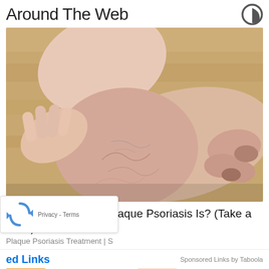Around The Web
[Figure (photo): Close-up photo of a human foot and ankle on a wooden floor, showing skin condition resembling psoriasis — dry, rough, cracked skin on the heel and ankle area.]
Do You Know What Plaque Psoriasis Is? (Take a Look)
Plaque Psoriasis Treatment | S
ed Links
Sponsored Links by Taboola
[Figure (photo): Thumbnail image for article about migraine causes]
What Causes Migraine - It's Not What Most...
[Figure (photo): Thumbnail image of baby with circles highlighting nose area]
Baby Has Weird Holes Inside Nose - When...